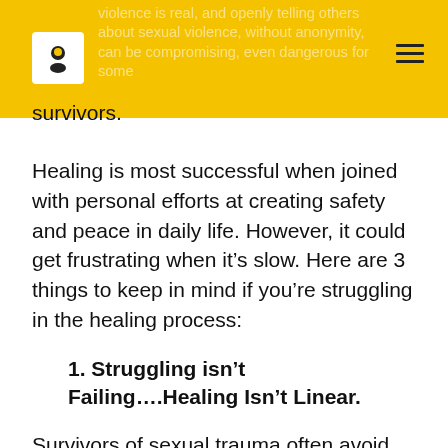violence is real, and openly telling others about sexual violence, without anonymity, can be compromising, even dangerous for some survivors.
Healing is most successful when joined with personal efforts at creating safety and peace in daily life. However, it could get frustrating when it's slow. Here are 3 things to keep in mind if you're struggling in the healing process:
1. Struggling isn't Failing….Healing Isn't Linear.
Survivors of sexual trauma often avoid support, while some who seek support sometimes get the wrong kind of support, or